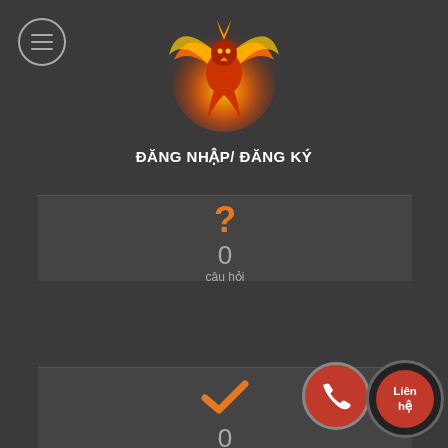[Figure (screenshot): Orange phoenix/eagle logo with fire effect on dark background]
ĐĂNG NHẬP/ ĐĂNG KÝ
[Figure (infographic): Three stat cards: câu hỏi (0), trả lời (0), hình luận câu hỏi (0) with orange icons (question mark, checkmark, speech bubble). Phone call button and Liên hệ button overlaid at bottom right.]